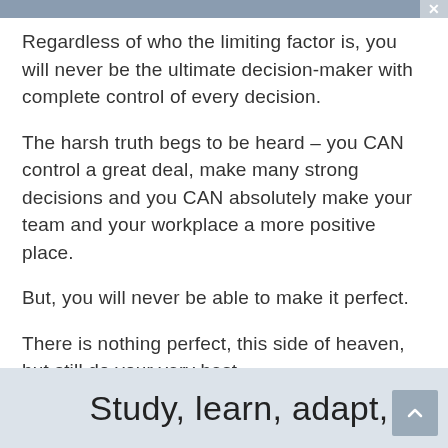Regardless of who the limiting factor is, you will never be the ultimate decision-maker with complete control of every decision.
The harsh truth begs to be heard – you CAN control a great deal, make many strong decisions and you CAN absolutely make your team and your workplace a more positive place.
But, you will never be able to make it perfect.
There is nothing perfect, this side of heaven, but still do your very best.
Study, learn, adapt,